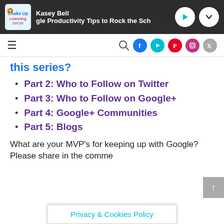Kasey Bell | gle Productivity Tips to Rock the Sch
this series?
Part 2: Who to Follow on Twitter
Part 3: Who to Follow on Google+
Part 4: Google+ Communities
Part 5: Blogs
What are your MVP’s for keeping up with Google? Please share in the comme
Privacy & Cookies Policy